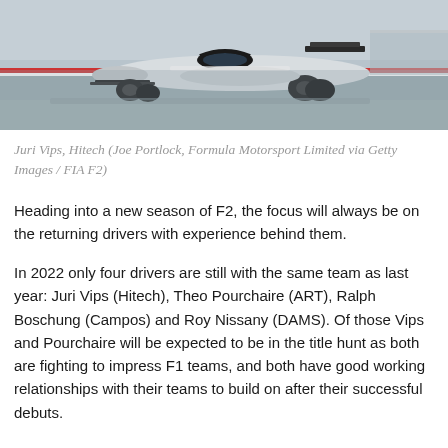[Figure (photo): A Formula 2 racing car on track, grey/white livery, low angle shot showing the car in motion on the circuit.]
Juri Vips, Hitech (Joe Portlock, Formula Motorsport Limited via Getty Images / FIA F2)
Heading into a new season of F2, the focus will always be on the returning drivers with experience behind them.
In 2022 only four drivers are still with the same team as last year: Juri Vips (Hitech), Theo Pourchaire (ART), Ralph Boschung (Campos) and Roy Nissany (DAMS). Of those Vips and Pourchaire will be expected to be in the title hunt as both are fighting to impress F1 teams, and both have good working relationships with their teams to build on after their successful debuts.